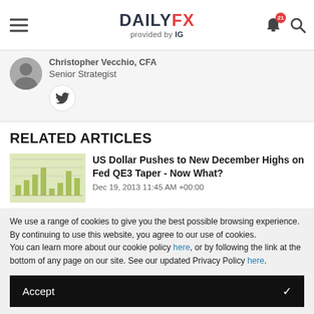DAILYFX provided by IG
Christopher Vecchio, CFA
Senior Strategist
RELATED ARTICLES
[Figure (screenshot): Thumbnail image of a bar chart for a related article about US Dollar]
US Dollar Pushes to New December Highs on Fed QE3 Taper - Now What?
Dec 19, 2013 11:45 AM +00:00
We use a range of cookies to give you the best possible browsing experience. By continuing to use this website, you agree to our use of cookies.
You can learn more about our cookie policy here, or by following the link at the bottom of any page on our site. See our updated Privacy Policy here.
Accept